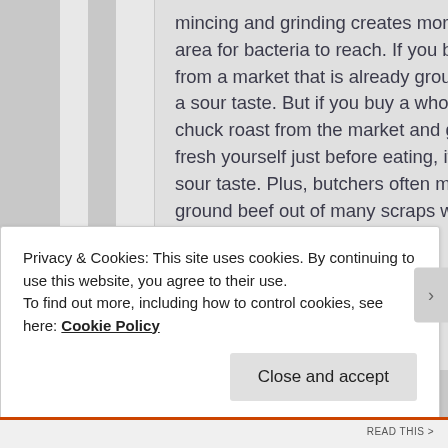mincing and grinding creates more surface area for bacteria to reach. If you buy meat from a market that is already ground, it has a sour taste. But if you buy a whole piece of chuck roast from the market and grind it fresh yourself just before eating, it has no sour taste. Plus, butchers often make ground beef out of many scraps which are smaller and have also been
Privacy & Cookies: This site uses cookies. By continuing to use this website, you agree to their use.
To find out more, including how to control cookies, see here: Cookie Policy